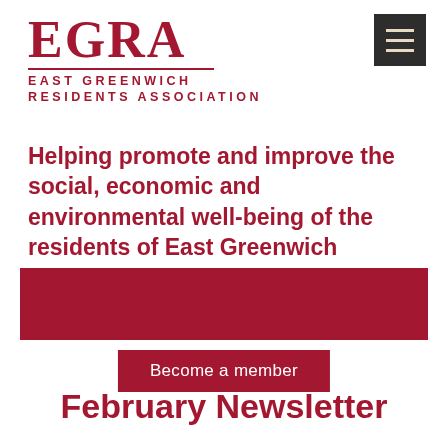[Figure (logo): EGRA East Greenwich Residents Association logo in dark red/maroon, with large EGRA letters, a horizontal rule, and the full name in spaced capitals]
[Figure (other): Dark grey hamburger menu icon (three horizontal lines) on a dark square background, top right corner]
Helping promote and improve the social, economic and environmental well-being of the residents of East Greenwich
[Figure (other): Solid dark red/maroon rectangular banner]
Become a member
February Newsletter